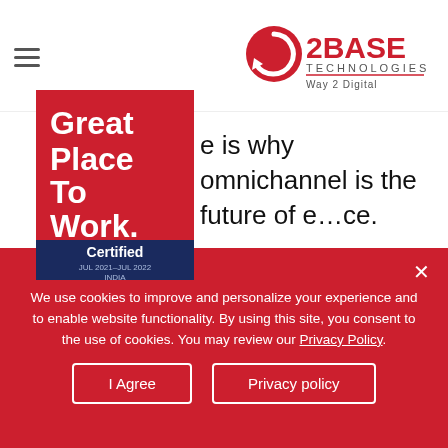2BASE TECHNOLOGIES Way 2 Digital
[Figure (logo): Great Place To Work Certified JUL 2021-JUL 2022 INDIA badge — red and dark blue certification badge]
… is why omnichannel is the future of e…ce.
What Is Omnichannel?
Just as multichannel, omnichannel involves offering your products to customers on various sales
We use cookies to improve and personalize your experience and to enable website functionality. By using this site, you consent to the use of cookies. You may review our Privacy Policy.
I Agree | Privacy policy